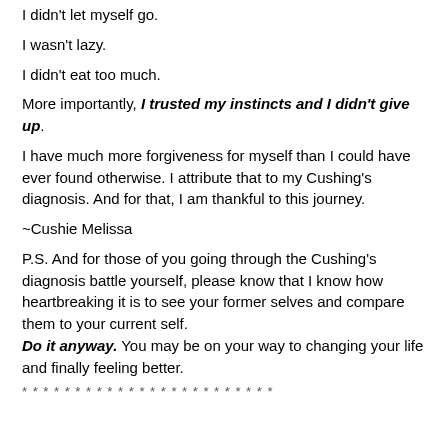I didn't let myself go.
I wasn't lazy.
I didn't eat too much.
More importantly, I trusted my instincts and I didn't give up.
I have much more forgiveness for myself than I could have ever found otherwise. I attribute that to my Cushing's diagnosis. And for that, I am thankful to this journey.
~Cushie Melissa
P.S. And for those of you going through the Cushing's diagnosis battle yourself, please know that I know how heartbreaking it is to see your former selves and compare them to your current self. Do it anyway. You may be on your way to changing your life and finally feeling better.
* * * * * * * * * * * * * * * * * * * * * * * *